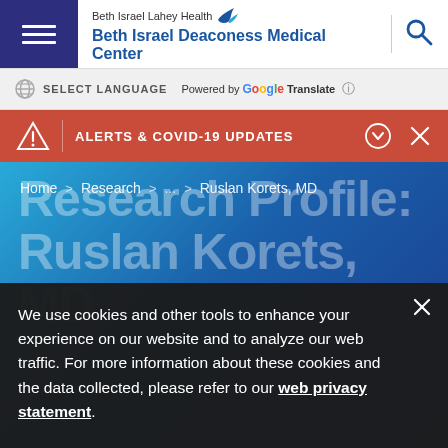[Figure (logo): Beth Israel Lahey Health / Beth Israel Deaconess Medical Center logo with bird icon and search icon]
SELECT LANGUAGE  Powered by Google Translate
ALERTS & COVID-19 UPDATES
Home > Research > ... > Ruslan Korets, MD
Research Profile: Ruslan Korets, MD
We use cookies and other tools to enhance your experience on our website and to analyze our web traffic. For more information about these cookies and the data collected, please refer to our web privacy statement.